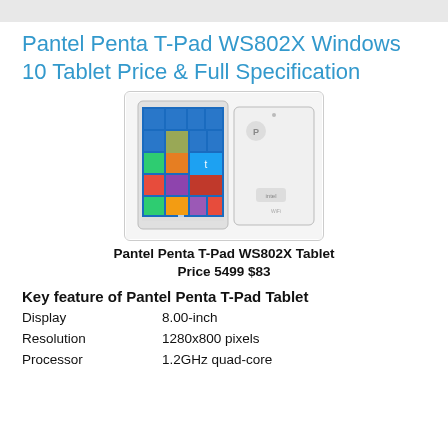Pantel Penta T-Pad WS802X Windows 10 Tablet Price & Full Specification
[Figure (photo): Pantel Penta T-Pad WS802X tablet shown from front (displaying Windows 10 start screen) and back, white casing, inside a rounded rectangle border.]
Pantel Penta T-Pad WS802X Tablet Price 5499 $83
Key feature of Pantel Penta T-Pad Tablet
Display    8.00-inch
Resolution    1280x800 pixels
Processor    1.2GHz quad-core